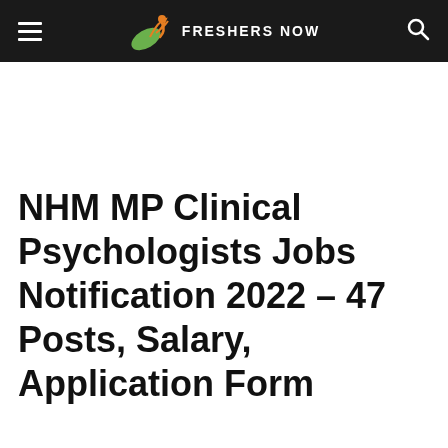FRESHERS NOW
NHM MP Clinical Psychologists Jobs Notification 2022 – 47 Posts, Salary, Application Form